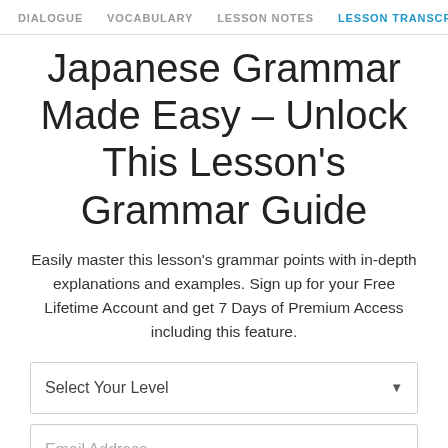DIALOGUE   VOCABULARY   LESSON NOTES   LESSON TRANSCRIPT   K
Japanese Grammar Made Easy – Unlock This Lesson's Grammar Guide
Easily master this lesson's grammar points with in-depth explanations and examples. Sign up for your Free Lifetime Account and get 7 Days of Premium Access including this feature.
Select Your Level
Email Address
Join Now